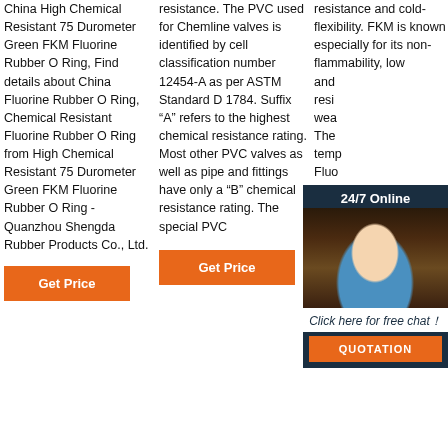China High Chemical Resistant 75 Durometer Green FKM Fluorine Rubber O Ring, Find details about China Fluorine Rubber O Ring, Chemical Resistant Fluorine Rubber O Ring from High Chemical Resistant 75 Durometer Green FKM Fluorine Rubber O Ring - Quanzhou Shengda Rubber Products Co., Ltd.
resistance. The PVC used for Chemline valves is identified by cell classification number 12454-A as per ASTM Standard D 1784. Suffix “A” refers to the highest chemical resistance rating. Most other PVC valves as well as pipe and fittings have only a “B” chemical resistance rating. The special PVC
resistance and cold-flexibility. FKM is known especially for its non-flammability, low and resi wea The temp Fluo rang /-4 ° /+392 °F (for a short period of time up to +230 °C /+446 °F). Suitable formulated FKM ...
[Figure (photo): Customer service representative woman with headset, with 24/7 Online header, Click here for free chat CTA, and QUOTATION orange button overlay]
Get Price
Get Price